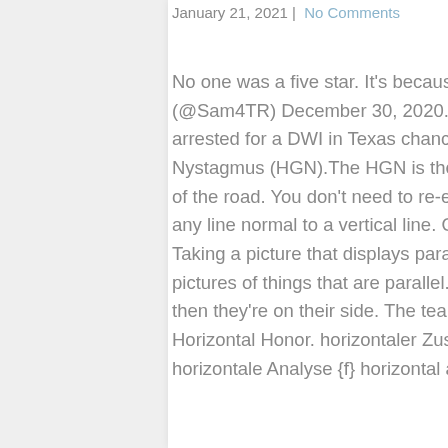January 21, 2021 | No Comments
No one was a five star. It's because we flip them horizontally. — Sam Fortier (@Sam4TR) December 30, 2020. - Surangama Sutra. If you have were arrested for a DWI in Texas chances are you took the Horizontal Gaze Nystagmus (HGN).The HGN is the eye test the police administer on the side of the road. You don't need to re-enter all your data or … A horizontal line is any line normal to a vertical line. Or, at least it seems that that's the case. Taking a picture that displays parallel lines is a bit different than taking pictures of things that are parallel. 21 28 0. If you stack books horizontally, then they're on their side. The teams at A-ball are where things got interesting. Horizontal Honor. horizontaler Zusammenschluss {m} horizontal analysis horizontale Analyse {f} horizontal angle